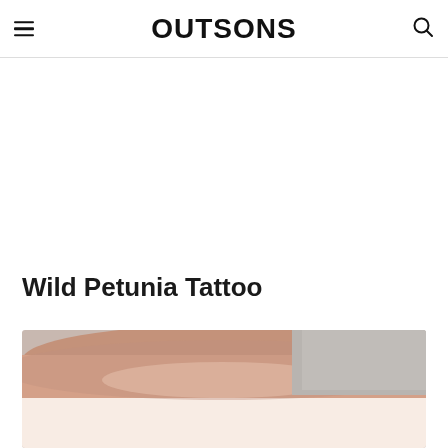OUTSONS
Wild Petunia Tattoo
[Figure (photo): Close-up photograph of a wrist/arm with a tattoo, showing skin tone in warm peach/beige colors against a light background]